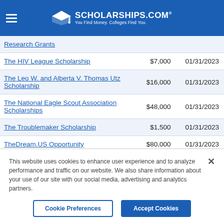SCHOLARSHIPS.COM® You Find Money. Colleges Find You.
| Scholarship Name | Amount | Deadline |
| --- | --- | --- |
| Research Grants |  |  |
| The HIV League Scholarship | $7,000 | 01/31/2023 |
| The Leo W. and Alberta V. Thomas Utz Scholarship | $16,000 | 01/31/2023 |
| The National Eagle Scout Association Scholarships | $48,000 | 01/31/2023 |
| The Troublemaker Scholarship | $1,500 | 01/31/2023 |
| TheDream.US Opportunity | $80,000 | 01/31/2023 |
This website uses cookies to enhance user experience and to analyze performance and traffic on our website. We also share information about your use of our site with our social media, advertising and analytics partners.
Cookie Preferences | Accept Cookies